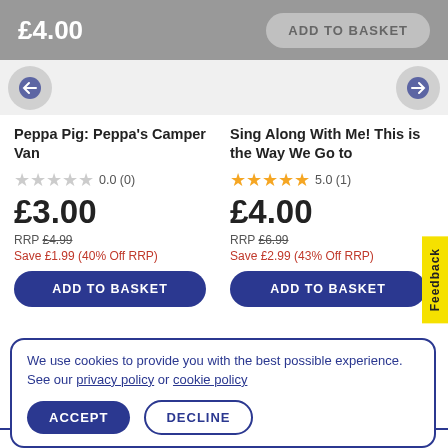£4.00
ADD TO BASKET
Peppa Pig: Peppa's Camper Van
0.0 (0)
£3.00
RRP £4.99
Save £1.99 (40% Off RRP)
ADD TO BASKET
Sing Along With Me! This is the Way We Go to
5.0 (1)
£4.00
RRP £6.99
Save £2.99 (43% Off RRP)
ADD TO BASKET
Feedback
We use cookies to provide you with the best possible experience. See our privacy policy or cookie policy
ACCEPT
DECLINE
Stress Free Returns